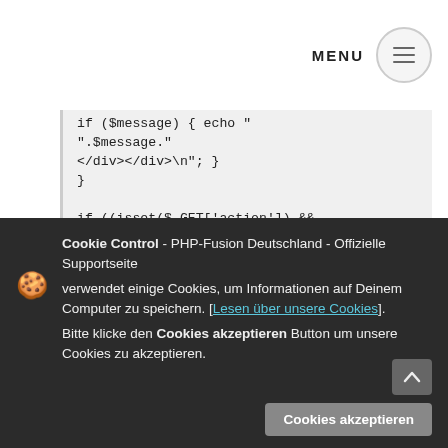MENU
[Figure (screenshot): PHP code block showing conditional logic with isset($_GET['action']), dbquery SELECT, and redirect function calls]
Cookie Control - PHP-Fusion Deutschland - Offizielle Supportseite verwendet einige Cookies, um Informationen auf Deinem Computer zu speichern. [Lesen über unsere Cookies]. Bitte klicke den Cookies akzeptieren Button um unsere Cookies zu akzeptieren.